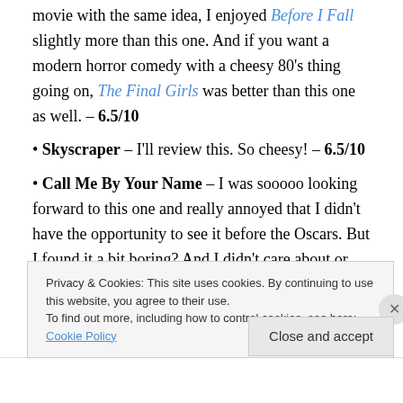movie with the same idea, I enjoyed Before I Fall slightly more than this one. And if you want a modern horror comedy with a cheesy 80's thing going on, The Final Girls was better than this one as well. – 6.5/10
Skyscraper – I'll review this. So cheesy! – 6.5/10
Call Me By Your Name – I was sooooo looking forward to this one and really annoyed that I didn't have the opportunity to see it before the Oscars. But I found it a bit boring? And I didn't care about or like the characters in the slightest. Not sure why? The acting was fine. But the only
Privacy & Cookies: This site uses cookies. By continuing to use this website, you agree to their use.
To find out more, including how to control cookies, see here: Cookie Policy
Close and accept